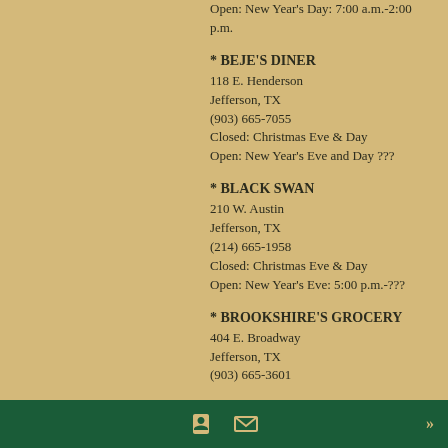Open: New Year's Day: 7:00 a.m.-2:00 p.m.
* BEJE'S DINER
118 E. Henderson
Jefferson, TX
(903) 665-7055
Closed: Christmas Eve & Day
Open: New Year's Eve and Day ???
* BLACK SWAN
210 W. Austin
Jefferson, TX
(214) 665-1958
Closed: Christmas Eve & Day
Open: New Year's Eve: 5:00 p.m.-???
* BROOKSHIRE'S GROCERY
404 E. Broadway
Jefferson, TX
(903) 665-3601
f  [mail icon]  »